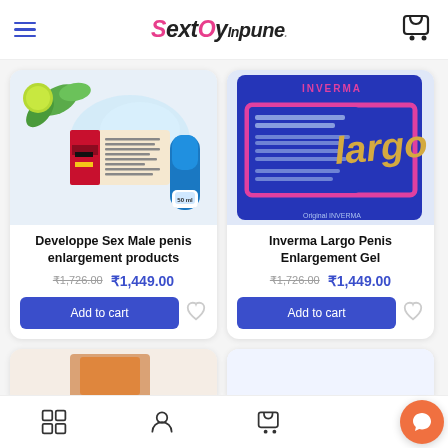SextoyInpune — e-commerce header with hamburger menu, logo, and cart icon
[Figure (photo): Product photo of Developpe Sex Male penis enlargement cream/gel with mint leaves and blue bottle]
Developpe Sex Male penis enlargement products
₹1,726.00  ₹1,449.00
Add to cart
[Figure (photo): Product photo of Inverma Largo Penis Enlargement Gel in blue and pink packaging]
Inverma Largo Penis Enlargement Gel
₹1,726.00  ₹1,449.00
Add to cart
[Figure (photo): Partially visible product card at bottom]
Bottom navigation: grid/home, account, cart, chat